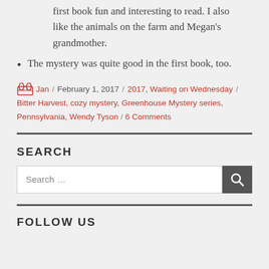first book fun and interesting to read. I also like the animals on the farm and Megan's grandmother.
The mystery was quite good in the first book, too.
Jan / February 1, 2017 / 2017, Waiting on Wednesday / Bitter Harvest, cozy mystery, Greenhouse Mystery series, Pennsylvania, Wendy Tyson / 6 Comments
SEARCH
FOLLOW US